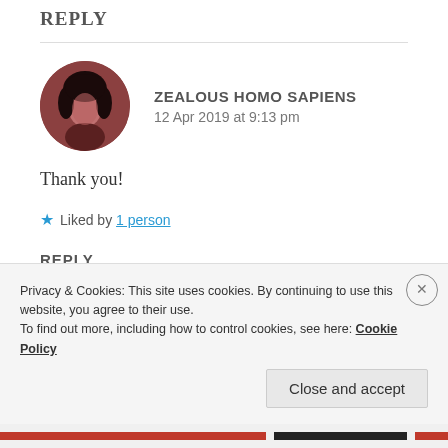REPLY
[Figure (photo): Circular avatar of a person with dark hair, reddish-brown tinted photo]
ZEALOUS HOMO SAPIENS
12 Apr 2019 at 9:13 pm
Thank you!
Liked by 1 person
REPLY
Privacy & Cookies: This site uses cookies. By continuing to use this website, you agree to their use.
To find out more, including how to control cookies, see here: Cookie Policy